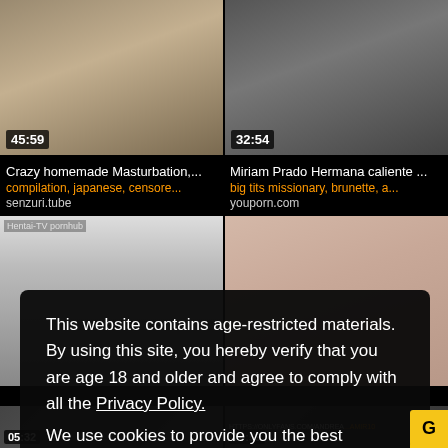[Figure (screenshot): Video thumbnail top-left with timestamp 45:59]
[Figure (screenshot): Video thumbnail top-right with timestamp 32:54]
Crazy homemade Masturbation,...
Miriam Prado Hermana caliente ...
compilation, japanese, censore...
big tits missionary, brunette, a...
senzuri.tube
youporn.com
[Figure (screenshot): Video thumbnail mid-left, anime/hentai style with watermark Hentai-TV pornhub]
[Figure (screenshot): Video thumbnail mid-right, redhead woman]
This website contains age-restricted materials. By using this site, you hereby verify that you are age 18 and older and agree to comply with all the Privacy Policy.
We use cookies to provide you the best possible experience on our website and to monitor website traffic. Cookies Policy.
[Figure (screenshot): Video thumbnail bottom-left with timestamp 05:32]
[Figure (screenshot): Video thumbnail bottom-right with timestamp 06:59 and URL HTTPS://ONLYFANS.COM/ANDREA...]